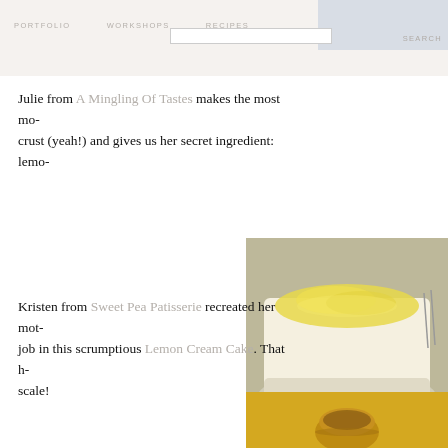PORTFOLIO   WORKSHOPS   RECIPES   SEARCH
Julie from A Mingling Of Tastes makes the most mo- crust (yeah!) and gives us her secret ingredient: lemo-
[Figure (photo): A slice of lemon cake on a plate, topped with yellow lemon zest, photographed close-up.]
Kristen from Sweet Pea Patisserie recreated her mot- job in this scrumptious Lemon Cream Cake. That h- scale!
[Figure (photo): A small dessert cup with a yellow background, partially visible.]